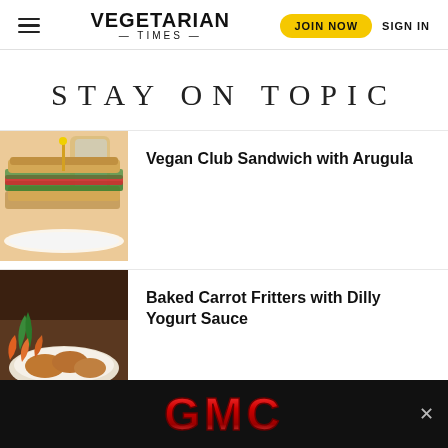VEGETARIAN TIMES | JOIN NOW | SIGN IN
STAY ON TOPIC
[Figure (photo): Photo of a vegan club sandwich with arugula on a white plate]
Vegan Club Sandwich with Arugula
[Figure (photo): Photo of baked carrot fritters with carrots visible on a plate]
Baked Carrot Fritters with Dilly Yogurt Sauce
[Figure (logo): GMC advertisement banner with red GMC logo on black background]